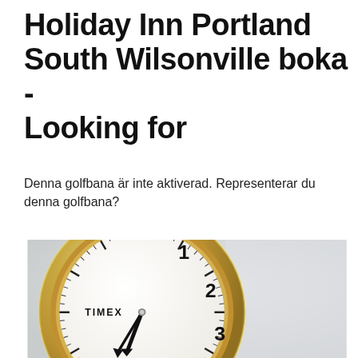Holiday Inn Portland South Wilsonville boka - Looking for
Denna golfbana är inte aktiverad. Representerar du denna golfbana?
[Figure (photo): Close-up photo of a Timex analog alarm clock showing the clock face with numbers 12, 1, 2, 3 visible, golden/brass casing, white clock face, black hands pointing near 6:30.]